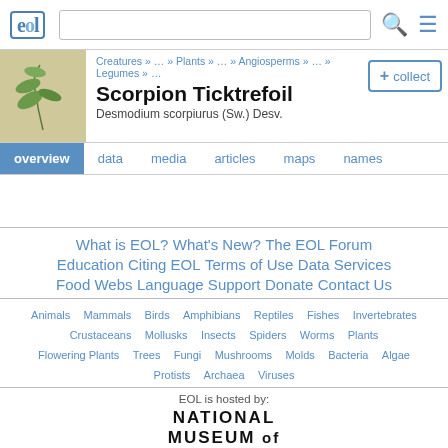EOL header with logo, search bar, and menu icon
Scorpion Ticktrefoil
Desmodium scorpiurus (Sw.) Desv.
Creatures » … » Plants » … » Angiosperms » … » Legumes » …
overview  data  media  articles  maps  names
What is EOL?  What's New?  The EOL Forum
Education  Citing EOL  Terms of Use  Data Services
Food Webs  Language Support  Donate  Contact Us
Animals  Mammals  Birds  Amphibians  Reptiles  Fishes  Invertebrates
Crustaceans  Mollusks  Insects  Spiders  Worms  Plants
Flowering Plants  Trees  Fungi  Mushrooms  Molds  Bacteria  Algae
Protists  Archaea  Viruses
EOL is hosted by:
NATIONAL
MUSEUM of